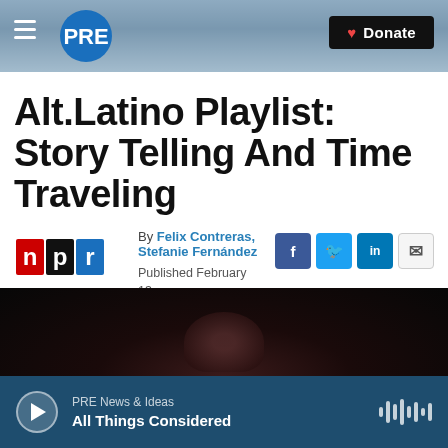PRE — Donate
Alt.Latino Playlist: Story Telling And Time Traveling
By Felix Contreras, Stefanie Fernández
Published February 13, 2020 at 3:11 PM EST
[Figure (photo): Dark background photo, partial figure silhouette with red/dark tones]
PRE News & Ideas — All Things Considered (audio player bar)